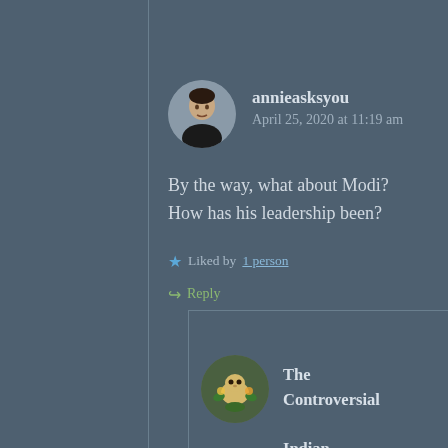[Figure (photo): Circular avatar photo of a woman with short dark hair]
annieasksyou
April 25, 2020 at 11:19 am
By the way, what about Modi? How has his leadership been?
Liked by 1 person
Reply
[Figure (illustration): Circular avatar illustration of a whimsical creature among plants/flowers]
The Controversial Indian